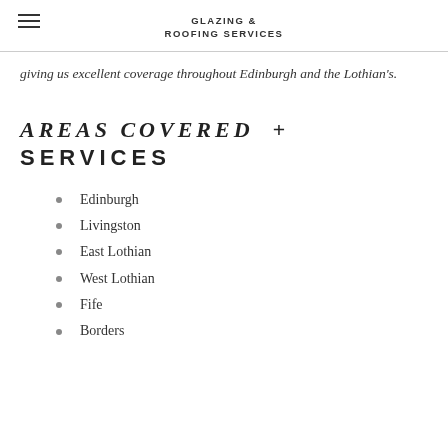GLAZING & ROOFING SERVICES
giving us excellent coverage throughout Edinburgh and the Lothian's.
AREAS COVERED + SERVICES
Edinburgh
Livingston
East Lothian
West Lothian
Fife
Borders